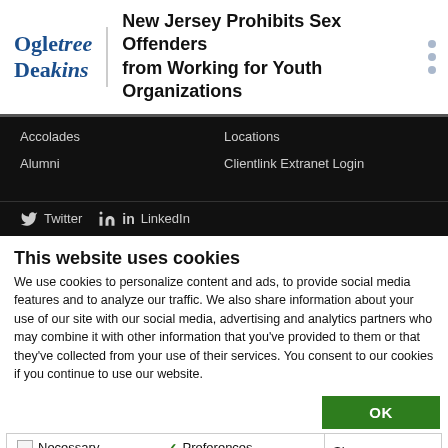Ogletree Deakins | New Jersey Prohibits Sex Offenders from Working for Youth Organizations
Accolades
Locations
Alumni
Clientlink Extranet Login
Twitter
LinkedIn
This website uses cookies
We use cookies to personalize content and ads, to provide social media features and to analyze our traffic. We also share information about your use of our site with our social media, advertising and analytics partners who may combine it with other information that you've provided to them or that they've collected from your use of their services. You consent to our cookies if you continue to use our website.
OK
Necessary  Preferences  Statistics  Marketing  Show details